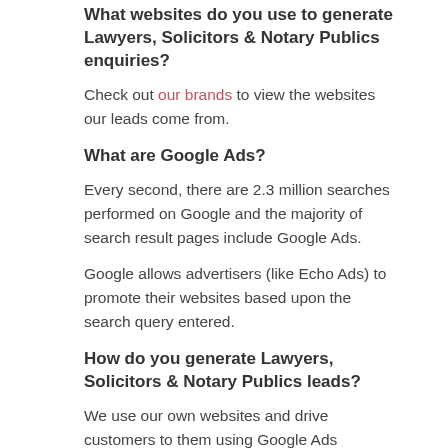What websites do you use to generate Lawyers, Solicitors & Notary Publics enquiries?
Check out our brands to view the websites our leads come from.
What are Google Ads?
Every second, there are 2.3 million searches performed on Google and the majority of search result pages include Google Ads.
Google allows advertisers (like Echo Ads) to promote their websites based upon the search query entered.
How do you generate Lawyers, Solicitors & Notary Publics leads?
We use our own websites and drive customers to them using Google Ads campaigns.
We design bespoke campaigns for each lead type. Each campaign often has in excess 10,000 keywords & phrases. We then manage & optimise the campaigns 24/7 for you.